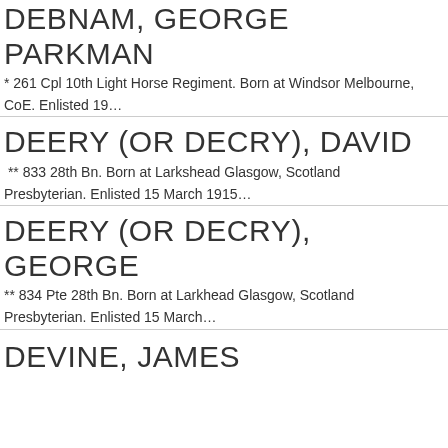DEBNAM, GEORGE PARKMAN
* 261 Cpl 10th Light Horse Regiment. Born at Windsor Melbourne, CoE. Enlisted 19…
DEERY (OR DECRY), DAVID
** 833 28th Bn. Born at Larkshead Glasgow, Scotland Presbyterian. Enlisted 15 March 1915…
DEERY (OR DECRY), GEORGE
** 834 Pte 28th Bn. Born at Larkhead Glasgow, Scotland Presbyterian. Enlisted 15 March…
DEVINE, JAMES